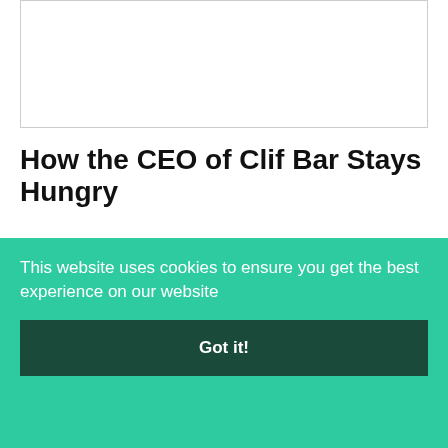[Figure (photo): Empty white image placeholder with light gray border]
How the CEO of Clif Bar Stays Hungry
In personal counseling, leaders talk about the people they seek advice from…
mollyfamwat · February 1, 2021
Ranking all 130 college
This website uses cookies to ensure you get the best experience on our website
Got it!